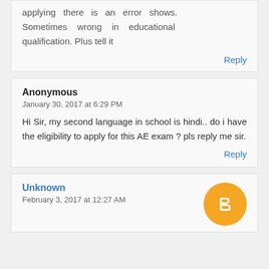applying there is an error shows. Sometimes wrong in educational qualification. Plus tell it
Reply
Anonymous
January 30, 2017 at 6:29 PM
Hi Sir, my second language in school is hindi.. do i have the eligibility to apply for this AE exam ? pls reply me sir.
Reply
Unknown
February 3, 2017 at 12:27 AM